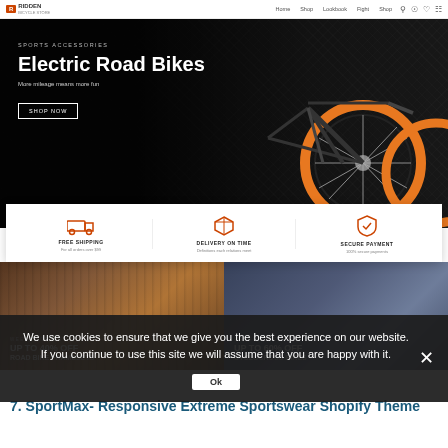RIDDEN BICYCLE STORE | Home Shop Lookbook Fight Shop | [icons]
[Figure (screenshot): Hero banner with dark textured background and orange/black electric road bicycle. Text overlay: SPORTS ACCESSORIES, Electric Road Bikes, More mileage means more fun, SHOP NOW button]
SPORTS ACCESSORIES
Electric Road Bikes
More mileage means more fun
SHOP NOW
[Figure (infographic): Features bar with three icons: truck (FREE SHIPPING - For all orders over $99), box (DELIVERY ON TIME - Definitions each relations meet), shield (SECURE PAYMENT - 100% secure payments)]
[Figure (photo): Left promo card: dark brown/orange bike parts background. WEEKLY OFFER. UP TO 40% OFF ROAD BIKE FRAMESETS]
[Figure (photo): Right promo card: cyclists in urban setting background. WEEKLY OFFER. UP TO 60% OFF CYCLOCROSS BIKES]
We use cookies to ensure that we give you the best experience on our website. If you continue to use this site we will assume that you are happy with it.
Ok
7. SportMax- Responsive Extreme Sportswear Shopify Theme